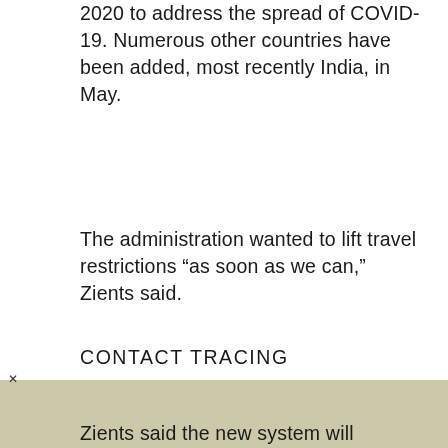2020 to address the spread of COVID-19. Numerous other countries have been added, most recently India, in May.
The administration wanted to lift travel restrictions “as soon as we can,” Zients said.
CONTACT TRACING
Zients said the new system will include collecting contact tracing data from passengers traveling into the United